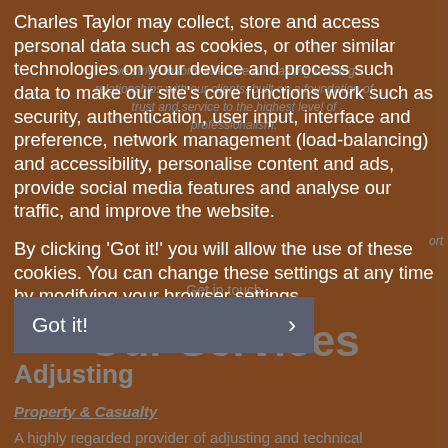We strive to form effective and lasting working relationships with our clients, built on a foundation of trust and service to the highest level of professionalism.
[Figure (screenshot): Orange 'Get in touch' button overlay]
Our Services
Charles Taylor may collect, store and access personal data such as cookies, or other similar technologies on your device and process such data to make our site's core functions work such as security, authentication, user input, interface and preference, network management (load-balancing) and accessibility, personalise content and ads, provide social media features and analyse our traffic, and improve the website.
By clicking 'Got it!' you will allow the use of these cookies. You can change these settings at any time by modifying your browser settings.
Learn more
Adjusting
Property & Casualty
A highly regarded provider of adjusting and technical